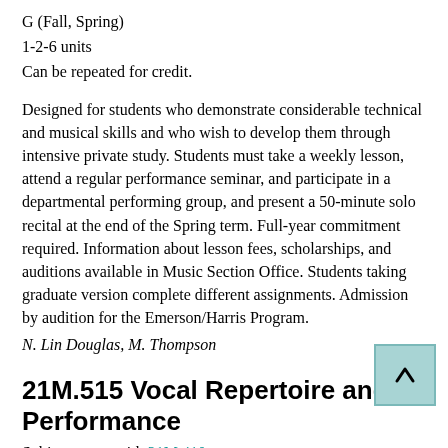G (Fall, Spring)
1-2-6 units
Can be repeated for credit.
Designed for students who demonstrate considerable technical and musical skills and who wish to develop them through intensive private study. Students must take a weekly lesson, attend a regular performance seminar, and participate in a departmental performing group, and present a 50-minute solo recital at the end of the Spring term. Full-year commitment required. Information about lesson fees, scholarships, and auditions available in Music Section Office. Students taking graduate version complete different assignments. Admission by audition for the Emerson/Harris Program.
N. Lin Douglas, M. Thompson
21M.515 Vocal Repertoire and Performance
Subject meets with 21M.410